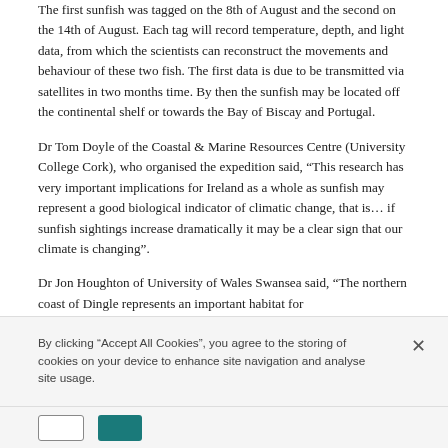The first sunfish was tagged on the 8th of August and the second on the 14th of August. Each tag will record temperature, depth, and light data, from which the scientists can reconstruct the movements and behaviour of these two fish. The first data is due to be transmitted via satellites in two months time. By then the sunfish may be located off the continental shelf or towards the Bay of Biscay and Portugal.
Dr Tom Doyle of the Coastal & Marine Resources Centre (University College Cork), who organised the expedition said, “This research has very important implications for Ireland as a whole as sunfish may represent a good biological indicator of climatic change, that is… if sunfish sightings increase dramatically it may be a clear sign that our climate is changing”.
Dr Jon Houghton of University of Wales Swansea said, “The northern coast of Dingle represents an important habitat for
By clicking “Accept All Cookies”, you agree to the storing of cookies on your device to enhance site navigation and analyse site usage.